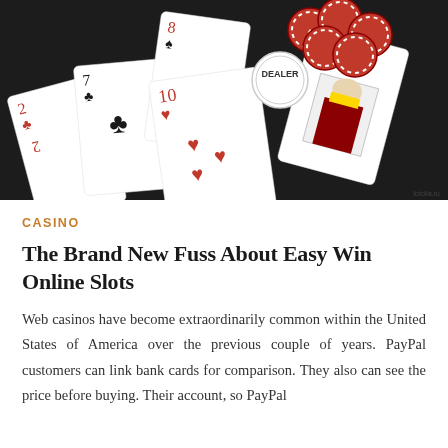[Figure (photo): Casino playing cards spread on a table with red poker chips and a white dealer button chip on top]
CASINO
The Brand New Fuss About Easy Win Online Slots
Web casinos have become extraordinarily common within the United States of America over the previous couple of years. PayPal customers can link bank cards for comparison. They also can see the price before buying. Their account, so PayPal